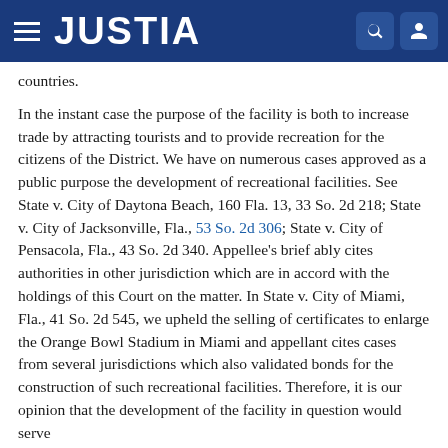JUSTIA
countries.
In the instant case the purpose of the facility is both to increase trade by attracting tourists and to provide recreation for the citizens of the District. We have on numerous cases approved as a public purpose the development of recreational facilities. See State v. City of Daytona Beach, 160 Fla. 13, 33 So. 2d 218; State v. City of Jacksonville, Fla., 53 So. 2d 306; State v. City of Pensacola, Fla., 43 So. 2d 340. Appellee's brief ably cites authorities in other jurisdiction which are in accord with the holdings of this Court on the matter. In State v. City of Miami, Fla., 41 So. 2d 545, we upheld the selling of certificates to enlarge the Orange Bowl Stadium in Miami and appellant cites cases from several jurisdictions which also validated bonds for the construction of such recreational facilities. Therefore, it is our opinion that the development of the facility in question would serve